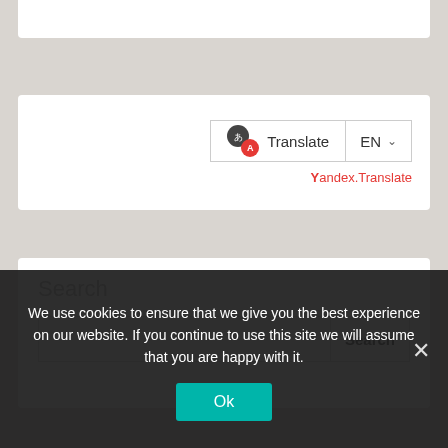[Figure (screenshot): White box at top of page, partially visible, clipped at top edge]
[Figure (screenshot): Translate widget with icon showing two overlapping circles (dark and red), Translate button, EN dropdown with chevron, and Yandex.Translate branding in red below]
[Figure (screenshot): Search widget with 'Search' label in gray, empty text input field, and Search button]
We use cookies to ensure that we give you the best experience on our website. If you continue to use this site we will assume that you are happy with it.
Ok